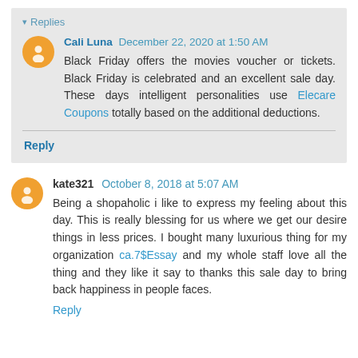▾ Replies
Cali Luna December 22, 2020 at 1:50 AM
Black Friday offers the movies voucher or tickets. Black Friday is celebrated and an excellent sale day. These days intelligent personalities use Elecare Coupons totally based on the additional deductions.
Reply
kate321 October 8, 2018 at 5:07 AM
Being a shopaholic i like to express my feeling about this day. This is really blessing for us where we get our desire things in less prices. I bought many luxurious thing for my organization ca.7$Essay and my whole staff love all the thing and they like it say to thanks this sale day to bring back happiness in people faces.
Reply